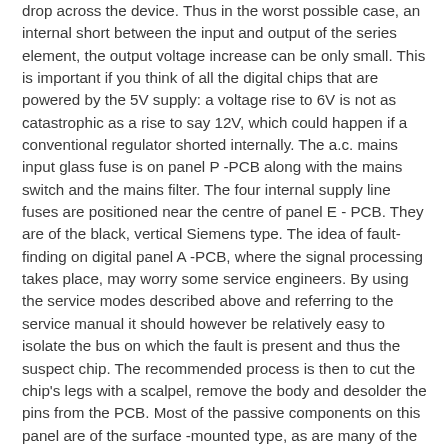drop across the device. Thus in the worst possible case, an internal short between the input and output of the series element, the output voltage increase can be only small. This is important if you think of all the digital chips that are powered by the 5V supply: a voltage rise to 6V is not as catastrophic as a rise to say 12V, which could happen if a conventional regulator shorted internally. The a.c. mains input glass fuse is on panel P -PCB along with the mains switch and the mains filter. The four internal supply line fuses are positioned near the centre of panel E - PCB. They are of the black, vertical Siemens type. The idea of fault-finding on digital panel A -PCB, where the signal processing takes place, may worry some service engineers. By using the service modes described above and referring to the service manual it should however be relatively easy to isolate the bus on which the fault is present and thus the suspect chip. The recommended process is then to cut the chip's legs with a scalpel, remove the body and desolder the pins from the PCB. Most of the passive components on this panel are of the surface -mounted type, as are many of the components in the vision i.f. pack and on the c.r.t. base panel.